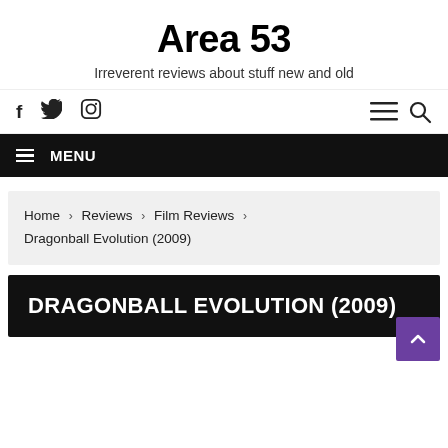Area 53
Irreverent reviews about stuff new and old
[Figure (screenshot): Social media icons (Facebook, Twitter, Instagram) on the left and hamburger menu and search icons on the right]
≡ MENU
Home › Reviews › Film Reviews › Dragonball Evolution (2009)
DRAGONBALL EVOLUTION (2009)